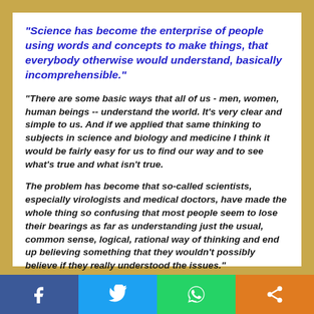"Science has become the enterprise of people using words and concepts to make things, that everybody otherwise would understand, basically incomprehensible."
"There are some basic ways that all of us - men, women, human beings -- understand the world. It's very clear and simple to us. And if we applied that same thinking to subjects in science and biology and medicine I think it would be fairly easy for us to find our way and to see what’s true and what isn’t true.
The problem has become that so-called scientists, especially virologists and medical doctors, have made the whole thing so confusing that most people seem to lose their bearings as far as understanding just the usual, common sense, logical, rational way of thinking and end up believing something that they wouldn't possibly believe if they really understood the issues."
~ Dr. Tom Cowan
[Figure (infographic): Social media sharing buttons bar: Facebook (blue), Twitter (light blue), WhatsApp (green), Share (orange)]